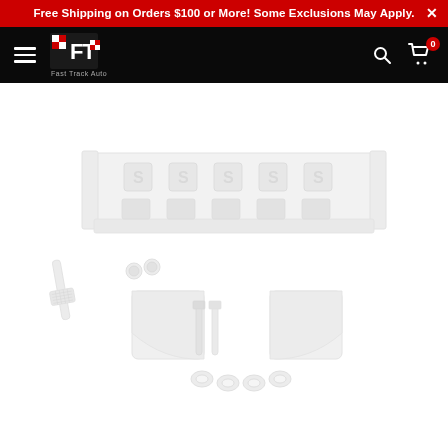Free Shipping on Orders $100 or More! Some Exclusions May Apply.
[Figure (logo): Fast Track Auto logo with FT checkered flag initials and text 'Fast Track Auto' in white on black background]
[Figure (photo): RC car wing/spoiler kit product photo showing a white/clear nylon rear wing with mounting hardware including plates, bolts, nuts, washers, and a small body clip tool, displayed on white background]